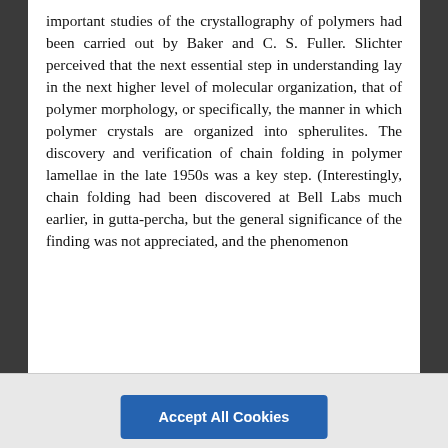important studies of the crystallography of polymers had been carried out by Baker and C. S. Fuller. Slichter perceived that the next essential step in understanding lay in the next higher level of molecular organization, that of polymer morphology, or specifically, the manner in which polymer crystals are organized into spherulites. The discovery and verification of chain folding in polymer lamellae in the late 1950s was a key step. (Interestingly, chain folding had been discovered at Bell Labs much earlier, in gutta-percha, but the general significance of the finding was not appreciated, and the phenomenon
This site uses cookies. For more information on cookies visit: https://www.nationalacademies.org/legal/privacy
Accept All Cookies